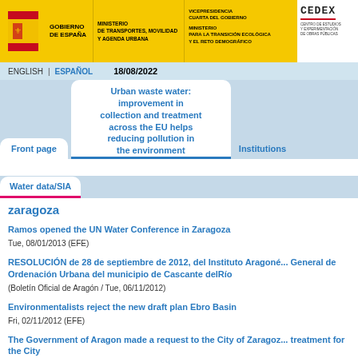GOBIERNO DE ESPAÑA | MINISTERIO DE TRANSPORTES, MOVILIDAD Y AGENDA URBANA | VICEPRESIDENCIA CUARTA DEL GOBIERNO | MINISTERIO PARA LA TRANSICIÓN ECOLÓGICA Y EL RETO DEMOGRÁFICO | CEDEX CENTRO DE ESTUDIOS Y EXPERIMENTACIÓN DE OBRAS PÚBLICAS
ENGLISH | ESPAÑOL  18/08/2022
Front page
Urban waste water: improvement in collection and treatment across the EU helps reducing pollution in the environment
Water data/SIA
Institutions
zaragoza
Ramos opened the UN Water Conference in Zaragoza
Tue, 08/01/2013 (EFE)
RESOLUCIÓN de 28 de septiembre de 2012, del Instituto Aragoné... General de Ordenación Urbana del municipio de Cascante delRío
(Boletín Oficial de Aragón / Tue, 06/11/2012)
Environmentalists reject the new draft plan Ebro Basin
Fri, 02/11/2012 (EFE)
The Government of Aragon made a request to the City of Zaragoz... treatment for the City
Tue, 28/08/2012 (iagua.es)